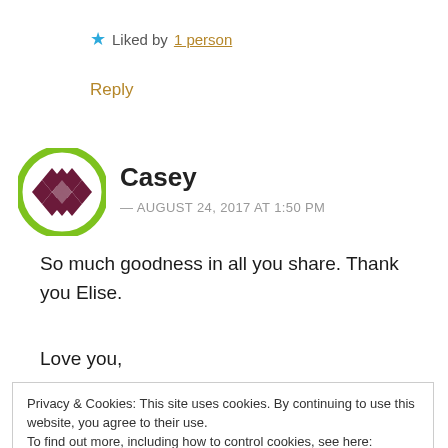★ Liked by 1 person
Reply
[Figure (illustration): Circular avatar with green border containing a purple/maroon diamond/checkerboard pattern on white background]
Casey
— AUGUST 24, 2017 AT 1:50 PM
So much goodness in all you share. Thank you Elise.
Love you,
Privacy & Cookies: This site uses cookies. By continuing to use this website, you agree to their use.
To find out more, including how to control cookies, see here:
Cookie Policy
Close and accept